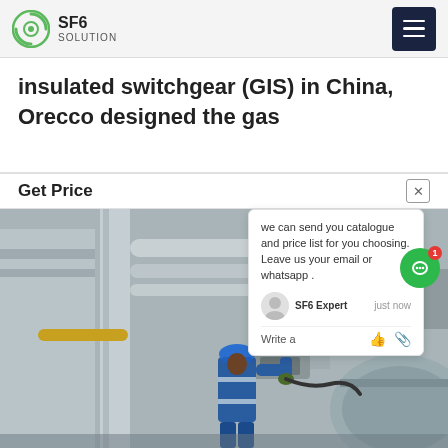SF6 SOLUTION
insulated switchgear (GIS) in China, Orecco designed the gas
Get Price
we can send you catalogue and price list for you choosing. Leave us your email or whatsapp .
SF6 Expert   just now
Write a
[Figure (photo): Technician in blue hard hat and coveralls working on industrial gas-insulated switchgear equipment at an outdoor substation facility]